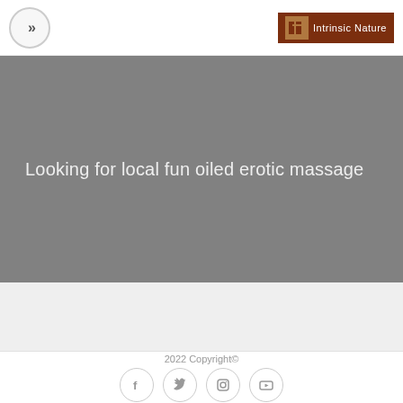>> Intrinsic Nature
[Figure (illustration): Gray hero banner with white text reading: Looking for local fun oiled erotic massage]
2022 Copyright©
[Figure (infographic): Row of four social media icon buttons: Facebook, Twitter, Instagram, YouTube]